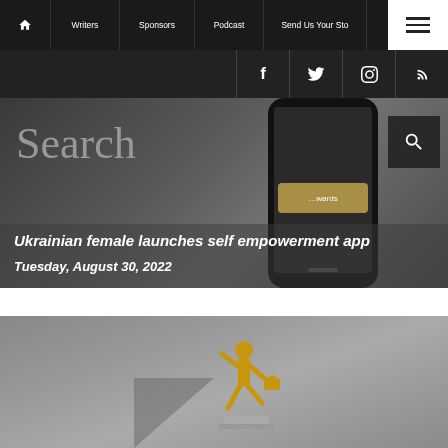Home | Writers | Sponsors | Podcast | Send Us Your Story | Menu
Facebook | Twitter | Instagram | RSS
Search
Ukrainian female launches self empowerment app
Tuesday, August 30, 2022
[Figure (photo): Person figurine running, appearing to be a small bronze or gold statue on a pedestal against a grey background]